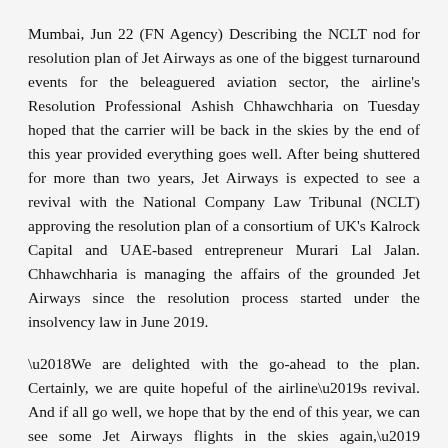Mumbai, Jun 22 (FN Agency) Describing the NCLT nod for resolution plan of Jet Airways as one of the biggest turnaround events for the beleaguered aviation sector, the airline's Resolution Professional Ashish Chhawchharia on Tuesday hoped that the carrier will be back in the skies by the end of this year provided everything goes well. After being shuttered for more than two years, Jet Airways is expected to see a revival with the National Company Law Tribunal (NCLT) approving the resolution plan of a consortium of UK's Kalrock Capital and UAE-based entrepreneur Murari Lal Jalan. Chhawchharia is managing the affairs of the grounded Jet Airways since the resolution process started under the insolvency law in June 2019.
‘We are delighted with the go-ahead to the plan. Certainly, we are quite hopeful of the airline’s revival. And if all go well, we hope that by the end of this year, we can see some Jet Airways flights in the skies again,’ Chhawchharia told. Though it is